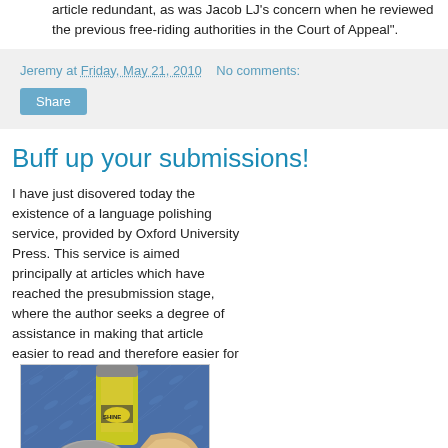article redundant, as was Jacob LJ's concern when he reviewed the previous free-riding authorities in the Court of Appeal".
Jeremy at Friday, May 21, 2010   No comments:
Share
Buff up your submissions!
I have just disovered today the existence of a language polishing service, provided by Oxford University Press. This service is aimed principally at articles which have reached the presubmission stage, where the author seeks a degree of assistance in making that article easier to read and therefore easier for peer reviewers to assess. According to OUP
[Figure (photo): A can of polish and a polishing cloth on a metallic diamond-plate surface with the text SHINE ON at the bottom]